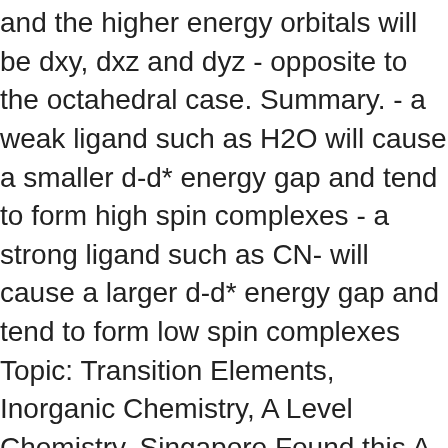and the higher energy orbitals will be dxy, dxz and dyz - opposite to the octahedral case. Summary. - a weak ligand such as H2O will cause a smaller d-d* energy gap and tend to form high spin complexes - a strong ligand such as CN- will cause a larger d-d* energy gap and tend to form low spin complexes Topic: Transition Elements, Inorganic Chemistry, A Level Chemistry, Singapore Found this A Level Chemistry video useful? These are the high spin state and the low spin state. Conversely, ligands (like I− and Br−) which cause a small splitting Δ of the d-orbitals are referred to as weak-field ligands. the coordination number of the metal (i.e. Please LIKE this video and SHARE it with your friends! Square planar and other complex geometries can also be described by CFT. Ligands which cause a large splitting Δ of the d-orbitals are referred to